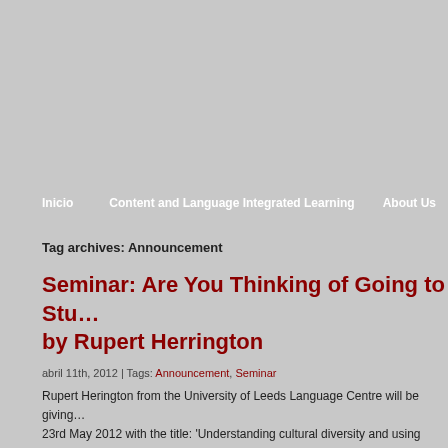Inicio   Content and Language Integrated Learning   About Us
Tag archives: Announcement
Seminar: Are You Thinking of Going to Stu... by Rupert Herrington
abril 11th, 2012 | Tags: Announcement, Seminar
Rupert Herington from the University of Leeds Language Centre will be giving a seminar on 23rd May 2012 with the title: 'Understanding cultural diversity and using comm... working and studying abroad.' The … Sigue leyendo →